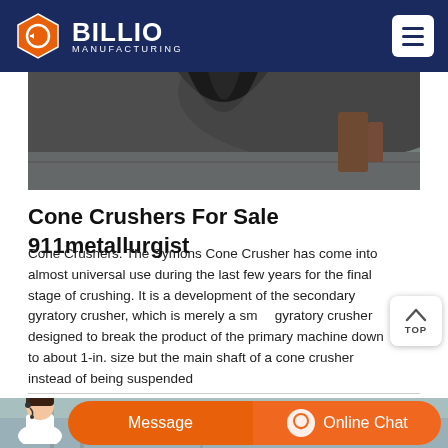BILLIO MANUFACTURING
[Figure (photo): Close-up photo of a cone crusher machine, showing the large curved metal surfaces of the crushing mechanism]
Cone Crushers For Sale 911metallurgist
Cone Crushers. The Symons Cone Crusher has come into almost universal use during the last few years for the final stage of crushing. It is a development of the secondary gyratory crusher, which is merely a smaller gyratory crusher designed to break the product of the primary machine down to about 1-in. size but the main shaft of a cone crusher instead of being suspended
[Figure (photo): Bottom section showing a customer service representative and chat interface buttons for Message and Online Chat]